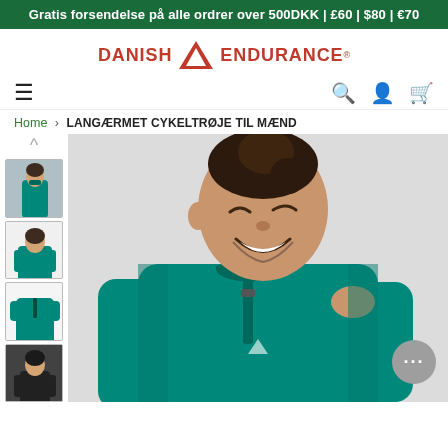Gratis forsendelse på alle ordrer over 500DKK | £60 | $80 | €70
[Figure (logo): Danish Endurance logo with red triangle and red text]
[Figure (infographic): Navigation bar with hamburger menu on left and search, user, cart icons on right]
Home › LANGÆRMET CYKELTRØJE TIL MÆND
[Figure (photo): Product page showing a smiling man wearing a green long-sleeve cycling jersey with quarter-zip, with thumbnail images on the left side showing front, back, detail and a woman wearing the jersey]